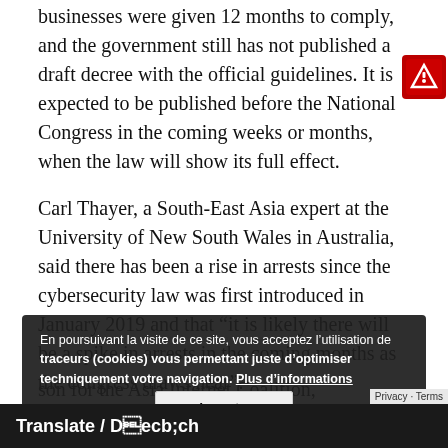businesses were given 12 months to comply, and the government still has not published a draft decree with the official guidelines. It is expected to be published before the National Congress in the coming weeks or months, when the law will show its full effect.
Carl Thayer, a South-East Asia expert at the University of New South Wales in Australia, said there has been a rise in arrests since the cybersecurity law was first introduced in January 2019 and that “it is likely there will be a spike in arrests in the coming months as the congress draws near”.
Analysts say clampdowns on activists and journalists are a regu... Vietnam... five-year eco... decided by the Communist party.
En poursuivant la visite de ce site, vous acceptez l’utilisation de traceurs (cookies) vous permettant juste d’optimiser techniquement votre navigation. Plus d’informations
Accepter
son for the Asia Internet Coalition,
Translate / Dịch
Privacy · Terms